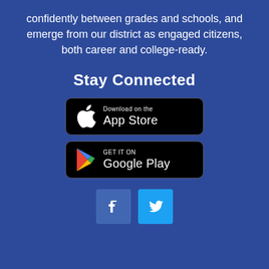confidently between grades and schools, and emerge from our district as engaged citizens, both career and college-ready.
Stay Connected
[Figure (other): Apple App Store download button (black rounded rectangle with Apple logo and 'Download on the App Store' text)]
[Figure (other): Google Play download button (black rounded rectangle with Google Play triangle logo and 'GET IT ON Google Play' text)]
[Figure (other): Facebook and Twitter social media icon buttons]